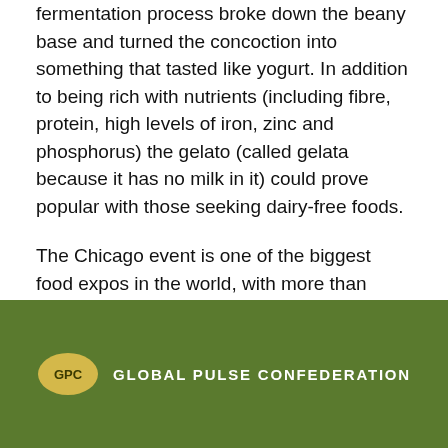fermentation process broke down the beany base and turned the concoction into something that tasted like yogurt. In addition to being rich with nutrients (including fibre, protein, high levels of iron, zinc and phosphorus) the gelato (called gelata because it has no milk in it) could prove popular with those seeking dairy-free foods.
The Chicago event is one of the biggest food expos in the world, with more than 20,000 people from the food industry in attendance. We can say that the innovation in the Pulse industry will be very well represented by Canada this year!
[Figure (logo): Global Pulse Confederation logo: yellow oval with 'GPC' text in dark, followed by 'GLOBAL PULSE CONFEDERATION' in white bold letters, on a green background.]